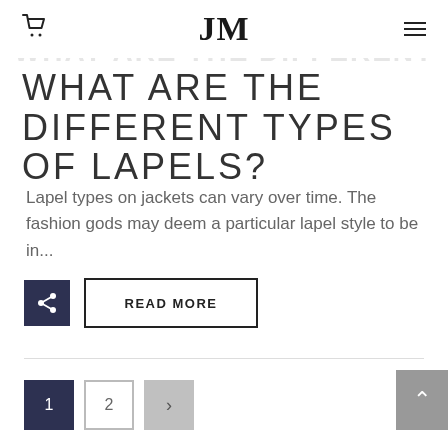JM
WHAT ARE THE DIFFERENT TYPES OF LAPELS?
Lapel types on jackets can vary over time. The fashion gods may deem a particular lapel style to be in...
READ MORE